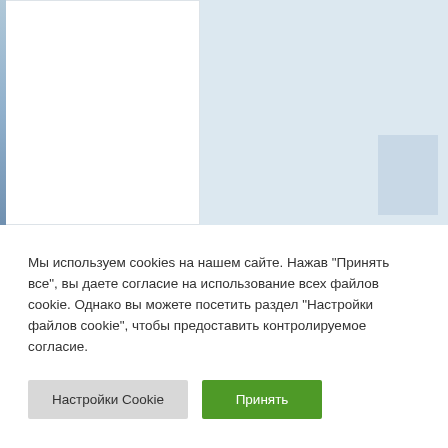[Figure (screenshot): Top portion of a webpage showing two white/light blue content panels side by side on a light grey-blue background]
Мы используем cookies на нашем сайте. Нажав "Принять все", вы даете согласие на использование всех файлов cookie. Однако вы можете посетить раздел "Настройки файлов cookie", чтобы предоставить контролируемое согласие.
Настройки Cookie
Принять